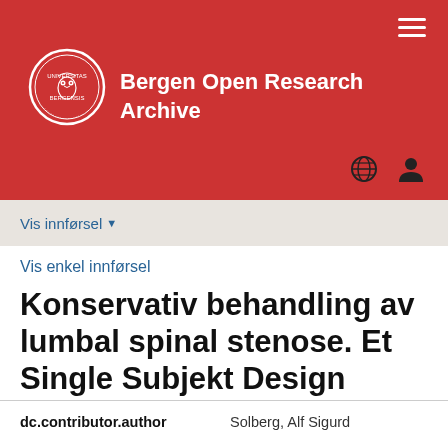[Figure (logo): Bergen Open Research Archive logo with red banner, University of Bergen seal/owl logo and white bold text]
Bergen Open Research Archive
Vis innførsel
Vis enkel innførsel
Konservativ behandling av lumbal spinal stenose. Et Single Subjekt Design
| dc.contributor.author |  |
| --- | --- |
| dc.contributor.author | Solberg, Alf Sigurd |